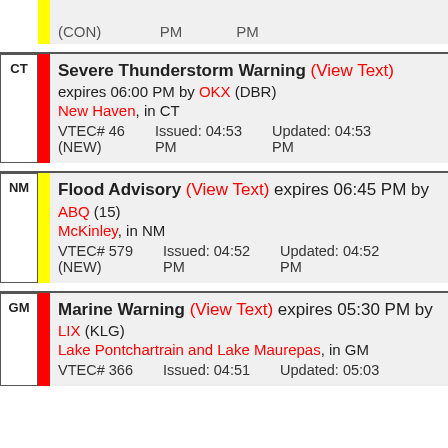(CON) PM PM
| CT | Severe Thunderstorm Warning (View Text) expires 06:00 PM by OKX (DBR) |  |  |
|  | New Haven, in CT |  |  |
|  | VTEC# 46 (NEW) | Issued: 04:53 PM | Updated: 04:53 PM |
| NM | Flood Advisory (View Text) expires 06:45 PM by ABQ (15) |  |  |
|  | McKinley, in NM |  |  |
|  | VTEC# 579 (NEW) | Issued: 04:52 PM | Updated: 04:52 PM |
| GM | Marine Warning (View Text) expires 05:30 PM by LIX (KLG) |  |  |
|  | Lake Pontchartrain and Lake Maurepas, in GM |  |  |
|  | VTEC# 366 | Issued: 04:51 | Updated: 05:03 |